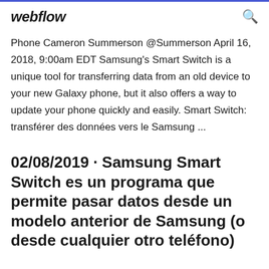webflow
Phone Cameron Summerson @Summerson April 16, 2018, 9:00am EDT Samsung's Smart Switch is a unique tool for transferring data from an old device to your new Galaxy phone, but it also offers a way to update your phone quickly and easily. Smart Switch: transférer des données vers le Samsung ...
02/08/2019 · Samsung Smart Switch es un programa que permite pasar datos desde un modelo anterior de Samsung (o desde cualquier otro teléfono)